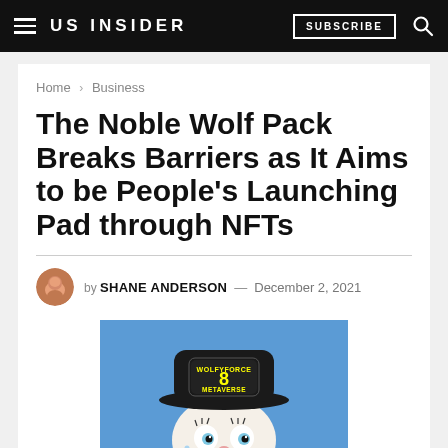US INSIDER | SUBSCRIBE
Home > Business
The Noble Wolf Pack Breaks Barriers as It Aims to be People's Launching Pad through NFTs
by SHANE ANDERSON — December 2, 2021
[Figure (illustration): Cartoon wolf character wearing a black bowler hat with a badge reading 'WOLFYFORCE 8 METAVERSE', illustrated against a blue background]